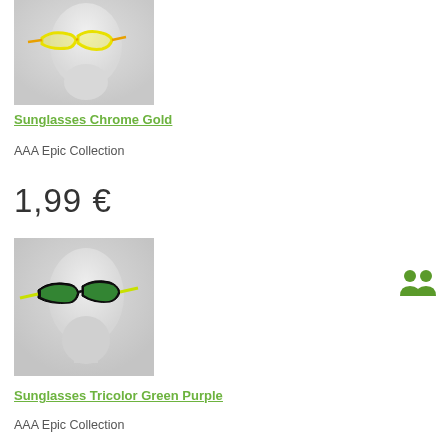[Figure (photo): Mannequin head wearing yellow/gold cat-eye sunglasses on white/light grey background]
Sunglasses Chrome Gold
AAA Epic Collection
1,99 €
[Figure (photo): Mannequin head wearing black sunglasses with green lenses and yellow-green temples on light grey background]
Sunglasses Tricolor Green Purple
AAA Epic Collection
[Figure (illustration): Two small green person/silhouette icons]